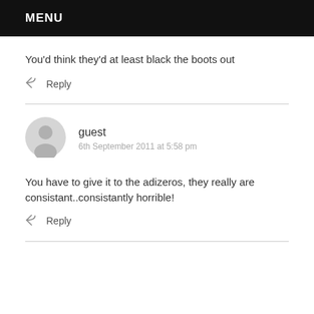MENU
You'd think they'd at least black the boots out
Reply
guest
6th September 2011 at 5:58 pm
You have to give it to the adizeros, they really are consistant..consistantly horrible!
Reply